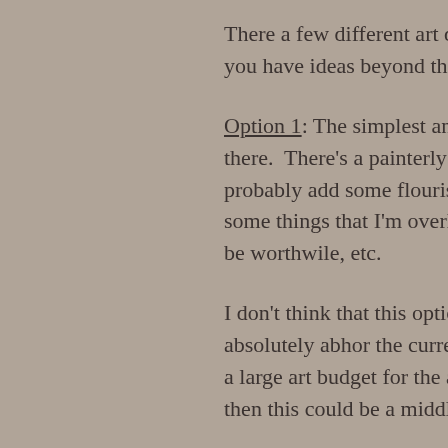There a few different art direc- you have ideas beyond the belo-
Option 1: The simplest and pro- there. There's a painterly aest- probably add some flourishes a- some things that I'm overlooki- be worthwile, etc.
I don't think that this option w- absolutely abhor the current st- a large art budget for the actu- then this could be a middle-of-
Option 2: Going hardcore pixela- probably the font, and it would challenge of this is the scale o- the characters (though some t